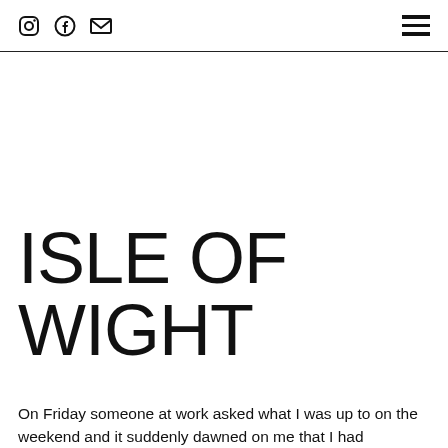[Instagram icon] [Facebook icon] [Email icon] [Hamburger menu]
ISLE OF WIGHT
On Friday someone at work asked what I was up to on the weekend and it suddenly dawned on me that I had